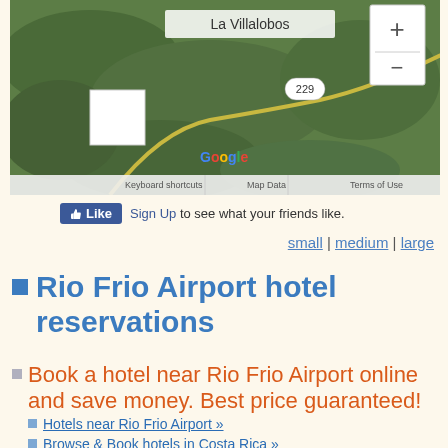[Figure (map): Google satellite map showing La Villalobos area with road 229, zoom controls (+/-), white square marker, Google logo, and toolbar with Keyboard shortcuts, Map Data, Terms of Use.]
Like Sign Up to see what your friends like.
small | medium | large
Rio Frio Airport hotel reservations
Book a hotel near Rio Frio Airport online and save money. Best price guaranteed!
Hotels near Rio Frio Airport »
Browse & Book hotels in Costa Rica »
Rio Frio Airport hotels – list of hotels near Rio Frio Airport »